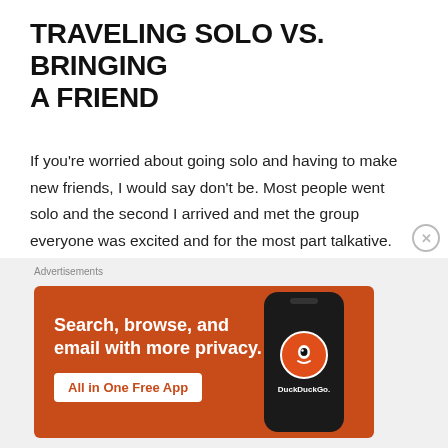TRAVELING SOLO VS. BRINGING A FRIEND
If you're worried about going solo and having to make new friends, I would say don't be. Most people went solo and the second I arrived and met the group everyone was excited and for the most part talkative. For me personally, I am not used to being surrounded by so many people and having girls all around me but it was exciting to meet new people , be outside my comfort zone and learn about each others lives.
[Figure (infographic): DuckDuckGo advertisement banner with orange background, text 'Search, browse, and email with more privacy. All in One Free App' and a phone mockup showing the DuckDuckGo logo.]